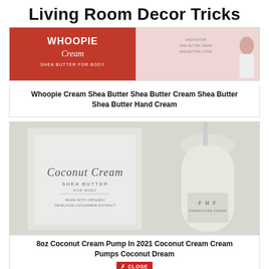Living Room Decor Tricks
[Figure (photo): Product photo showing Whoopie Cream Shea Butter for Body product next to a woman's photo]
Whoopie Cream Shea Butter Shea Butter Cream Shea Butter Shea Butter Hand Cream
[Figure (photo): Photo showing Coconut Cream Shea Butter for Body product box next to FHF Farmhouse Fresh pump bottle]
8oz Coconut Cream Pump In 2021 Coconut Cream Cream Pumps Coconut Dream